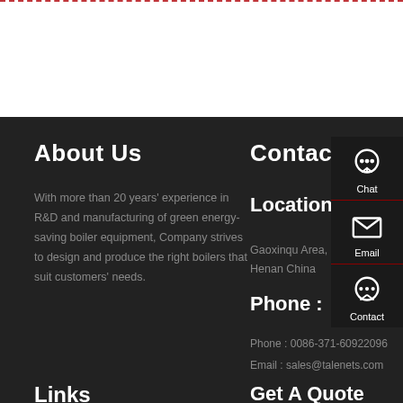About Us
With more than 20 years' experience in R&D and manufacturing of green energy-saving boiler equipment, Company strives to design and produce the right boilers that suit customers' needs.
Contact Info
Location :
Gaoxinqu Area, Zhengzhou, Henan China
Phone :
Phone : 0086-371-60922096
Email : sales@talenets.com
Links
Get A Quote